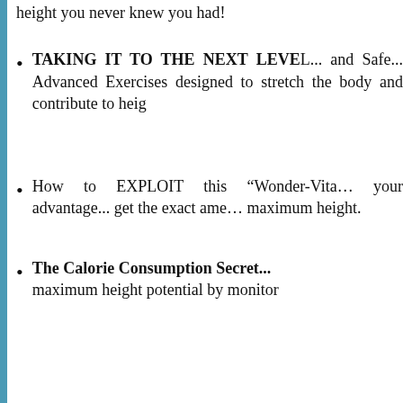height you never knew you had!
TAKING IT TO THE NEXT LEVEL... and Safe... Advanced Exercises designed to stretch the body and contribute to height...
How to EXPLOIT this "Wonder-Vitamin" to your advantage... get the exact amount for maximum height.
The Calorie Consumption Secret... maximum height potential by monitor...